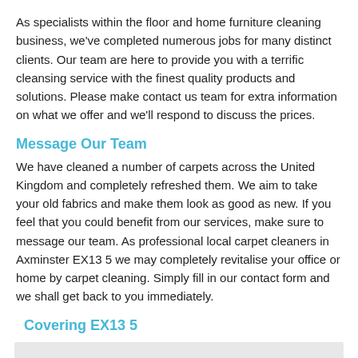As specialists within the floor and home furniture cleaning business, we've completed numerous jobs for many distinct clients. Our team are here to provide you with a terrific cleansing service with the finest quality products and solutions. Please make contact us team for extra information on what we offer and we'll respond to discuss the prices.
Message Our Team
We have cleaned a number of carpets across the United Kingdom and completely refreshed them. We aim to take your old fabrics and make them look as good as new. If you feel that you could benefit from our services, make sure to message our team. As professional local carpet cleaners in Axminster EX13 5 we may completely revitalise your office or home by carpet cleaning. Simply fill in our contact form and we shall get back to you immediately.
Covering EX13 5
[Figure (map): A map embed area with a light grey background and a dark circular icon with an exclamation mark in the center-bottom area, indicating a map loading error or placeholder.]